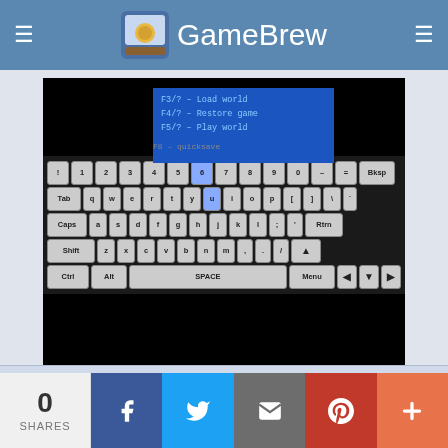GameBrew
[Figure (screenshot): Screenshot of a game application showing a black screen with blue highlighted menu area displaying text 'F3/? – Load world', 'F4/? – Restore game', 'F5/? – Play world', with an on-screen keyboard below showing QWERTY layout with keys: numbers row, Tab/QWERTYUIOP, Caps/ASDFGHJKL, Shift/ZXCVBNM, Ctrl/Alt/SPACE/Menu rows]
|  |  |
| --- | --- |
| Author | Kevin Vance (kvance) |
| Last Updated | 2009/10/18 |
| Type | Computer |
| Version | 2009 |
0 SHARES  [Facebook] [Twitter] [Email] [Pinterest] [Plus]